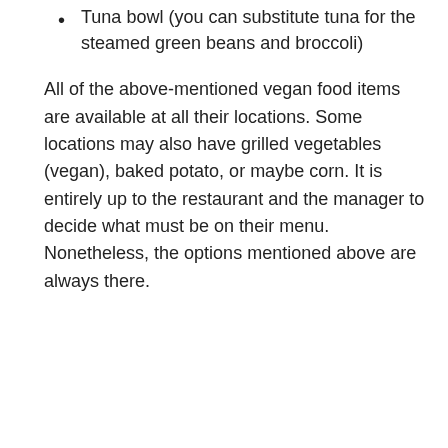Tuna bowl (you can substitute tuna for the steamed green beans and broccoli)
All of the above-mentioned vegan food items are available at all their locations. Some locations may also have grilled vegetables (vegan), baked potato, or maybe corn. It is entirely up to the restaurant and the manager to decide what must be on their menu. Nonetheless, the options mentioned above are always there.